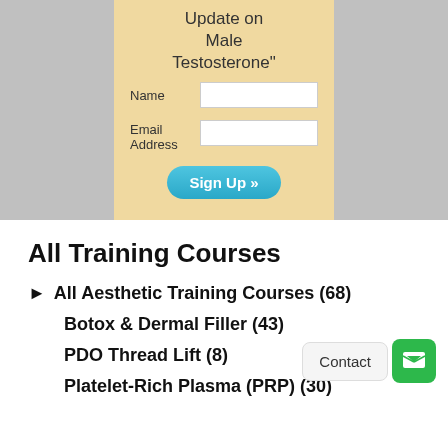[Figure (screenshot): Sign-up form with beige/tan background showing title 'Update on Male Testosterone"', with Name and Email Address input fields and a teal 'Sign Up »' button]
All Training Courses
► All Aesthetic Training Courses (68)
Botox & Dermal Filler (43)
PDO Thread Lift (8)
Platelet-Rich Plasma (PRP) (30)